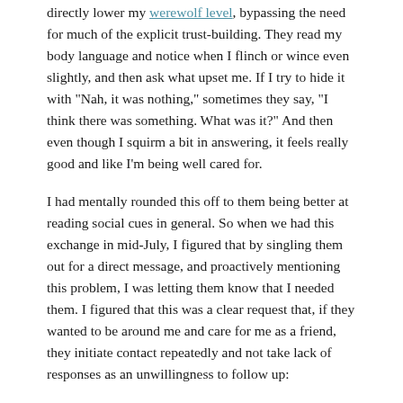directly lower my werewolf level, bypassing the need for much of the explicit trust-building. They read my body language and notice when I flinch or wince even slightly, and then ask what upset me. If I try to hide it with "Nah, it was nothing," sometimes they say, "I think there was something. What was it?" And then even though I squirm a bit in answering, it feels really good and like I'm being well cared for.
I had mentally rounded this off to them being better at reading social cues in general. So when we had this exchange in mid-July, I figured that by singling them out for a direct message, and proactively mentioning this problem, I was letting them know that I needed them. I figured that this was a clear request that, if they wanted to be around me and care for me as a friend, they initiate contact repeatedly and not take lack of responses as an unwillingness to follow up:
Me: Hey, FYI I'm going through what's probably a depressive period, so I won't be good at offering to hang out. Not sure how long this will last.